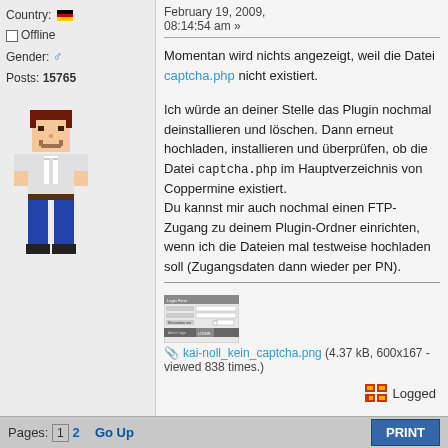Country: [DE flag]
☐ Offline
Gender: ♂
Posts: 15765
[Figure (illustration): Pixel art avatar of a male character with dark hair, white shirt, blue jeans]
February 19, 2009, 08:14:54 am »
Momentan wird nichts angezeigt, weil die Datei captcha.php nicht existiert.

Ich würde an deiner Stelle das Plugin nochmal deinstallieren und löschen. Dann erneut hochladen, installieren und überprüfen, ob die Datei captcha.php im Hauptverzeichnis von Coppermine existiert.
Du kannst mir auch nochmal einen FTP-Zugang zu deinem Plugin-Ordner einrichten, wenn ich die Dateien mal testweise hochladen soll (Zugangsdaten dann wieder per PN).
[Figure (screenshot): Small screenshot of a login form with username, password fields and a login button]
kai-noll_kein_captcha.png (4.37 kB, 600x167 - viewed 838 times.)
Logged
Pages: [1] 2  Go Up   PRINT